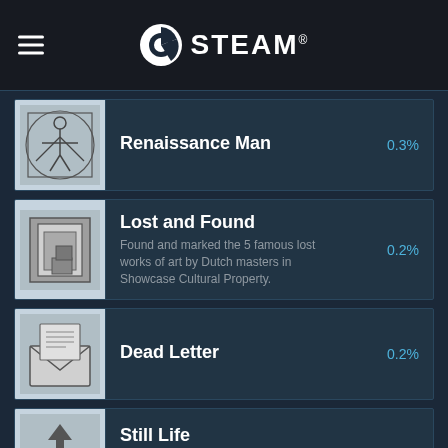STEAM®
Renaissance Man — 0.3%
Lost and Found — 0.2% — Found and marked the 5 famous lost works of art by Dutch masters in Showcase Cultural Property.
Dead Letter — 0.2%
Still Life — 0.2% — Published a composition to Steam Workshop.